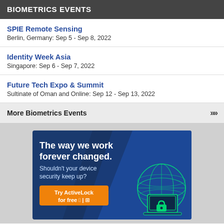BIOMETRICS EVENTS
SPIE Remote Sensing
Berlin, Germany: Sep 5 - Sep 8, 2022
Identity Week Asia
Singapore: Sep 6 - Sep 7, 2022
Future Tech Expo & Summit
Sultinate of Oman and Online: Sep 12 - Sep 13, 2022
More Biometrics Events >>>
[Figure (illustration): Advertisement for ActiveLock device security. Blue background with headline 'The way we work forever changed. Shouldn't your device security keep up?' and an orange CTA button 'Try ActiveLock for free' with Apple and Windows icons. Green wireframe globe and laptop illustration on the right.]